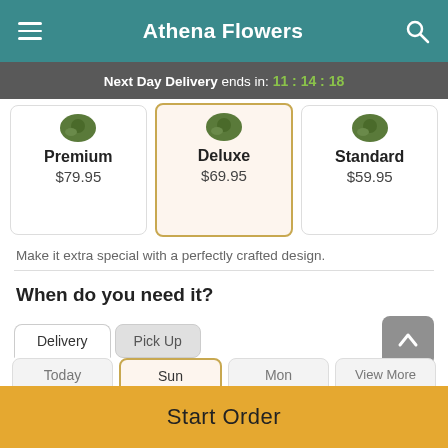Athena Flowers
Next Day Delivery ends in: 11:14:18
[Figure (screenshot): Three product option cards: Premium $79.95, Deluxe $69.95 (selected, highlighted), Standard $59.95, each with a flower arrangement image]
Make it extra special with a perfectly crafted design.
When do you need it?
Delivery | Pick Up tabs
[Figure (screenshot): Date selection row with: Today, Sun (selected), Mon, View More date cards]
Start Order